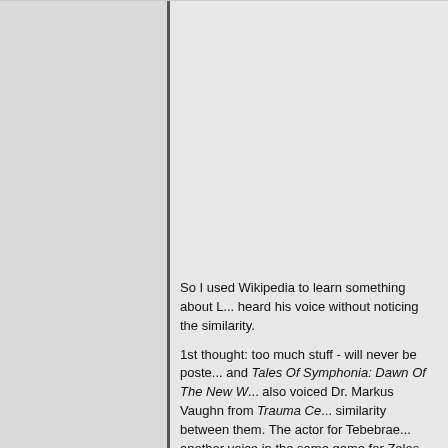So I used Wikipedia to learn something about L... heard his voice without noticing the similarity.

1st thought: too much stuff - will never be poste... and Tales Of Symphonia: Dawn Of The New W... also voiced Dr. Markus Vaughn from Trauma Ce... similarity between them. The actor for Tebebrae... another voice in the same game for Zelos Wilde... IV. But the 3 characters sounding that much diff... believe it untill today, that only one man did this...

So I discerned, that there are maybe too many t... seeming nearly irrelevant to me. It rises the que...
12-17-2012 08:32 AM
[Figure (other): FIND button with magnifying glass icon]
Ginkaze
RE: Voice Actor Submissions - interesting but sensel...